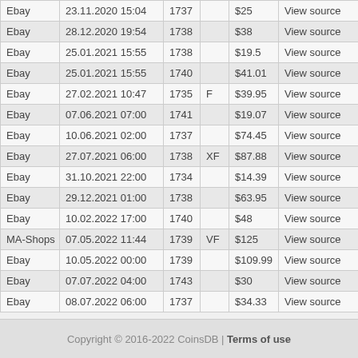| Ebay | 23.11.2020 15:04 | 1737 |  | $25 | View source |
| Ebay | 28.12.2020 19:54 | 1738 |  | $38 | View source |
| Ebay | 25.01.2021 15:55 | 1738 |  | $19.5 | View source |
| Ebay | 25.01.2021 15:55 | 1740 |  | $41.01 | View source |
| Ebay | 27.02.2021 10:47 | 1735 | F | $39.95 | View source |
| Ebay | 07.06.2021 07:00 | 1741 |  | $19.07 | View source |
| Ebay | 10.06.2021 02:00 | 1737 |  | $74.45 | View source |
| Ebay | 27.07.2021 06:00 | 1738 | XF | $87.88 | View source |
| Ebay | 31.10.2021 22:00 | 1734 |  | $14.39 | View source |
| Ebay | 29.12.2021 01:00 | 1738 |  | $63.95 | View source |
| Ebay | 10.02.2022 17:00 | 1740 |  | $48 | View source |
| MA-Shops | 07.05.2022 11:44 | 1739 | VF | $125 | View source |
| Ebay | 10.05.2022 00:00 | 1739 |  | $109.99 | View source |
| Ebay | 07.07.2022 04:00 | 1743 |  | $30 | View source |
| Ebay | 08.07.2022 06:00 | 1737 |  | $34.33 | View source |
Copyright © 2016-2022 CoinsDB | Terms of use